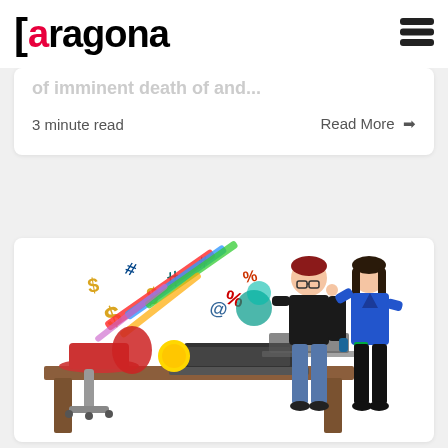[Figure (logo): Aragona logo with red letter 'a' in brackets]
[Figure (illustration): Burger/hamburger menu icon (three horizontal bars)]
of imminent death of and...
3 minute read
Read More →
[Figure (illustration): Cartoon illustration of a cluttered desk with chaotic symbols (dollar signs, hashtags, percent signs, etc.) flying off a laptop, and two cartoon people (man in black with glasses, woman in blue) standing nearby discussing]